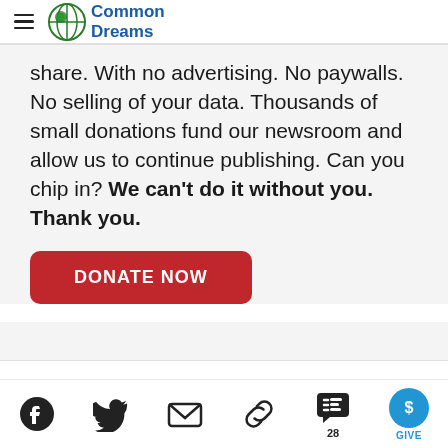Common Dreams
share. With no advertising. No paywalls. No selling of your data. Thousands of small donations fund our newsroom and allow us to continue publishing. Can you chip in? We can't do it without you. Thank you.
DONATE NOW
28 GIVE